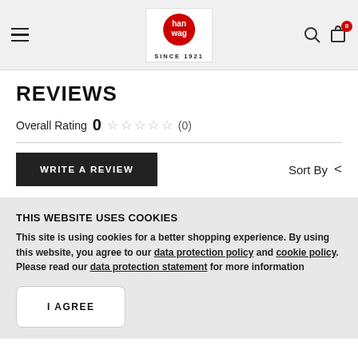Hanwag logo — SINCE 1921, hamburger menu, search icon, cart icon with badge 0
REVIEWS
Overall Rating 0 ☆☆☆☆☆ (0)
WRITE A REVIEW    Sort By <
THIS WEBSITE USES COOKIES
This site is using cookies for a better shopping experience. By using this website, you agree to our data protection policy and cookie policy. Please read our data protection statement for more information
I AGREE